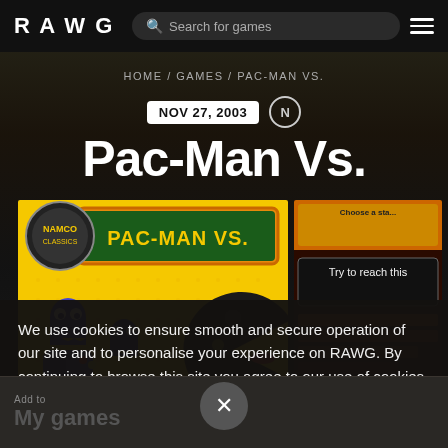RAWG | Search for games
HOME / GAMES / PAC-MAN VS.
NOV 27, 2003
Pac-Man Vs.
[Figure (screenshot): Pac-Man Vs. game cover art showing PAC-MAN VS. logo with Pac-Man character and ghost characters on yellow background]
[Figure (screenshot): Second screenshot showing game UI with 'Try to reach this' text on dark background]
We use cookies to ensure smooth and secure operation of our site and to personalise your experience on RAWG. By continuing to browse this site you agree to our use of cookies. More details in Cookies Policy.
Add to
My games